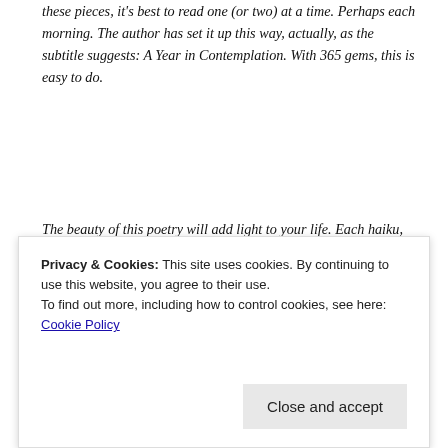these pieces, it's best to read one (or two) at a time. Perhaps each morning. The author has set it up this way, actually, as the subtitle suggests: A Year in Contemplation. With 365 gems, this is easy to do.
The beauty of this poetry will add light to your life. Each haiku, skillfully written and poignant, left me with a sense of gratitude that stayed with me throughout the day. A collection to savor and treasure.
[Figure (photo): Partial photo showing reddish-orange foliage or hair against a green and dark background, cropped at the bottom of the visible area]
Privacy & Cookies: This site uses cookies. By continuing to use this website, you agree to their use.
To find out more, including how to control cookies, see here: Cookie Policy